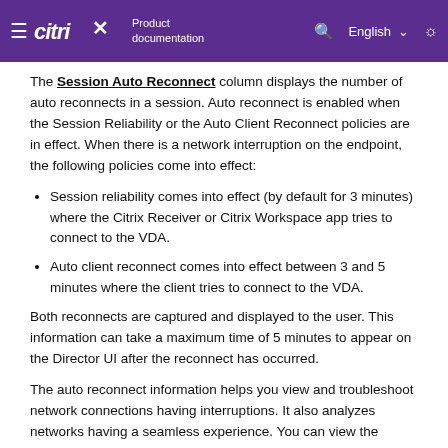Citrix Product documentation | English
The Session Auto Reconnect column displays the number of auto reconnects in a session. Auto reconnect is enabled when the Session Reliability or the Auto Client Reconnect policies are in effect. When there is a network interruption on the endpoint, the following policies come into effect:
Session reliability comes into effect (by default for 3 minutes) where the Citrix Receiver or Citrix Workspace app tries to connect to the VDA.
Auto client reconnect comes into effect between 3 and 5 minutes where the client tries to connect to the VDA.
Both reconnects are captured and displayed to the user. This information can take a maximum time of 5 minutes to appear on the Director UI after the reconnect has occurred.
The auto reconnect information helps you view and troubleshoot network connections having interruptions. It also analyzes networks having a seamless experience. You can view the number of reconnects for a specific Delivery Group or time period selected in the Filters. A drilldown provides additional information like Session Reliability or